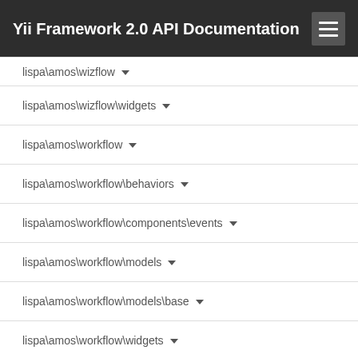Yii Framework 2.0 API Documentation
lispa\amos\wizflow
lispa\amos\wizflow\widgets
lispa\amos\workflow
lispa\amos\workflow\behaviors
lispa\amos\workflow\components\events
lispa\amos\workflow\models
lispa\amos\workflow\models\base
lispa\amos\workflow\widgets
pendalf89\filemanager
pendalf89\filemanager\assets